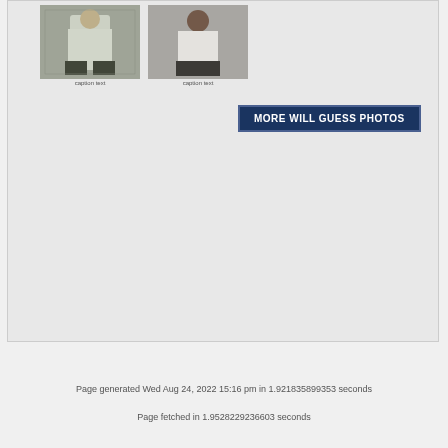[Figure (photo): Two thumbnail photos of people in formal/white attire, with small captions below each photo]
MORE WILL GUESS PHOTOS
Page generated Wed Aug 24, 2022 15:16 pm in 1.921835899353 seconds
Page fetched in 1.9528229236603 seconds